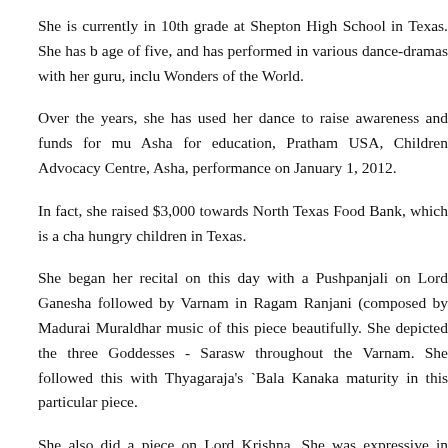She is currently in 10th grade at Shepton High School in Texas. She has been dancing since the age of five, and has performed in various dance-dramas with her guru, including the Seven Wonders of the World.
Over the years, she has used her dance to raise awareness and funds for multiple charities like Asha for education, Pratham USA, Children Advocacy Centre, Asha, and culminated with a performance on January 1, 2012.
In fact, she raised $3,000 towards North Texas Food Bank, which is a charity that feeds hungry children in Texas.
She began her recital on this day with a Pushpanjali on Lord Ganesha and then followed by Varnam in Ragam Ranjani (composed by Madurai Muralidhar) and captured the music of this piece beautifully. She depicted the three Goddesses - Saraswati, Lakshmi, throughout the Varnam. She followed this with Thyagaraja's `Bala Kanaka` and showed maturity in this particular piece.
She also did a piece on Lord Krishna. She was expressive in "Jagado Dharana" ended the evening with a 7-beat Thillana in Ragam Revathi (Mishra Chapu Thalam) set to music by Ratnam, an accomplished artist in the field. The vocalist for the evening w...